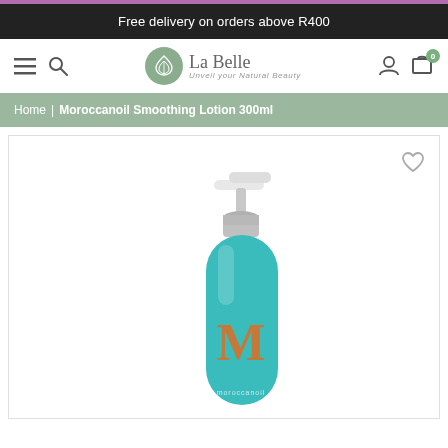Free delivery on orders above R400
[Figure (logo): La Belle logo with leaf icon and tagline 'Unveil your Natural Beauty']
Home | Moroccanoil Smoothing Lotion 300ml
[Figure (photo): Moroccanoil Smoothing Lotion 300ml product in teal/turquoise pump bottle with silver pump and orange M logo, shown on white background]